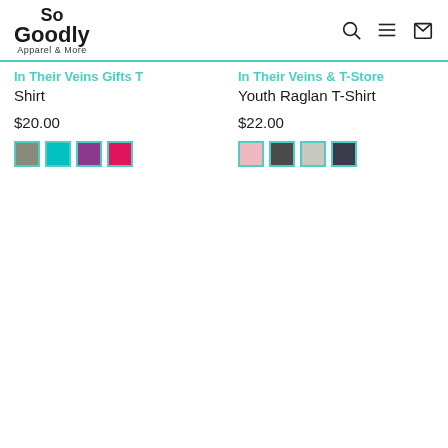So Goodly Apparel & More
In Their Veins Gifts T Shirt
$20.00
[Figure (other): Four color swatches: grey, teal, purple, pink/magenta]
In Their Veins & T-Store Youth Raglan T-Shirt
$22.00
[Figure (other): Four color swatches: light pink, dark grey, light grey, dark navy]